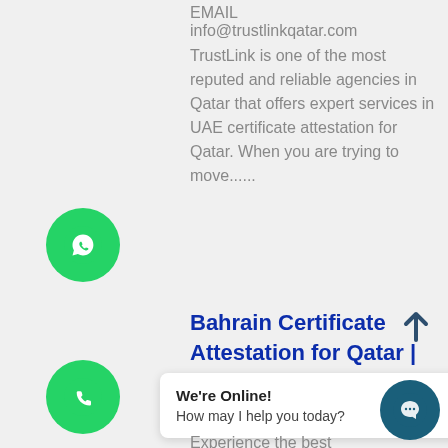EMAIL
info@trustlinkqatar.com
TrustLink is one of the most reputed and reliable agencies in Qatar that offers expert services in UAE certificate attestation for Qatar. When you are trying to move......
[Figure (illustration): Green WhatsApp chat button (circular, green background with white WhatsApp icon)]
Bahrain Certificate Attestation for Qatar | Qatar Attestation for Bahrain
[Figure (illustration): Green phone call button (circular, green background with white phone icon)]
[Figure (illustration): Dark teal scroll-to-top arrow button]
We're Online!
How may I help you today?
[Figure (illustration): Dark teal chat widget icon (circular button with chat bubble icon)]
Experience the best